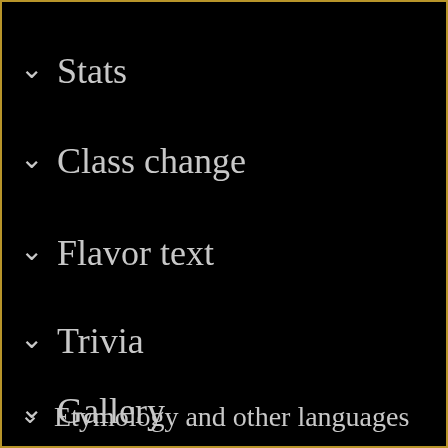✓ Stats
✓ Class change
✓ Flavor text
✓ Trivia
✓ Etymology and other languages
✓ Gallery